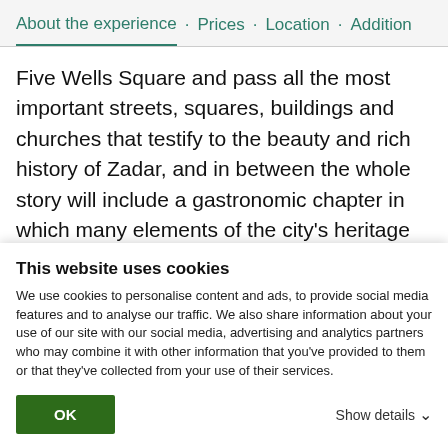About the experience · Prices · Location · Addition
Five Wells Square and pass all the most important streets, squares, buildings and churches that testify to the beauty and rich history of Zadar, and in between the whole story will include a gastronomic chapter in which many elements of the city's heritage are intertwined.
What's this included
This website uses cookies
We use cookies to personalise content and ads, to provide social media features and to analyse our traffic. We also share information about your use of our site with our social media, advertising and analytics partners who may combine it with other information that you've provided to them or that they've collected from your use of their services.